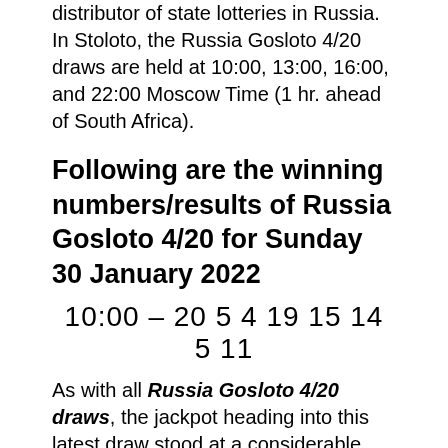distributor of state lotteries in Russia. In Stoloto, the Russia Gosloto 4/20 draws are held at 10:00, 13:00, 16:00, and 22:00 Moscow Time (1 hr. ahead of South Africa).
Following are the winning numbers/results of Russia Gosloto 4/20 for Sunday 30 January 2022
10:00 – 20 5 4 19 15 14 5 11
As with all Russia Gosloto 4/20 draws, the jackpot heading into this latest draw stood at a considerable amount of ру6 256.9 million. For this latest draw, the Gosloto 4/20 stood